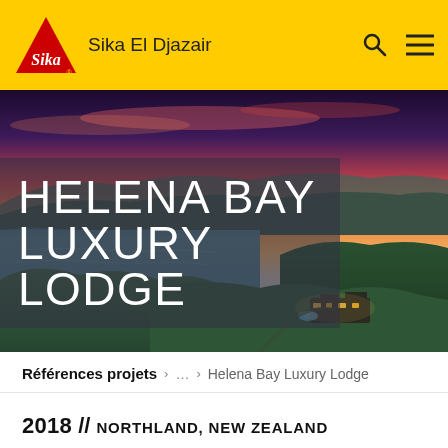Sika El Djazair
[Figure (photo): Aerial photograph of Helena Bay Luxury Lodge at dusk showing rolling green hills, coastline, resort buildings with lights, and a dramatic sunset sky with pink and purple clouds over the bay in Northland, New Zealand. Large white text overlay reads HELENA BAY LUXURY LODGE.]
HELENA BAY LUXURY LODGE
Références projets > … > Helena Bay Luxury Lodge
2018 // NORTHLAND, NEW ZEALAND